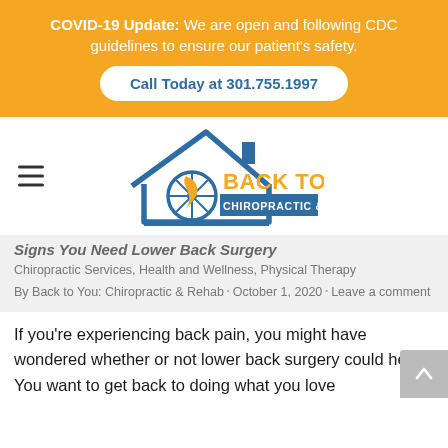COVID-19 Update: We are open and following CDC guidelines to ensure our patient's safety. Call Today at 301.755.1997
[Figure (logo): Back To You Chiropractic & Rehab logo — blue house outline with spine/wheel graphic and orange bold text 'BACK TO YOU' with blue text 'CHIROPRACTIC & REHAB']
Signs You Need Lower Back Surgery
Chiropractic Services, Health and Wellness, Physical Therapy
By Back to You: Chiropractic & Rehab · October 1, 2020 · Leave a comment
If you're experiencing back pain, you might have wondered whether or not lower back surgery could help. You want to get back to doing what you love